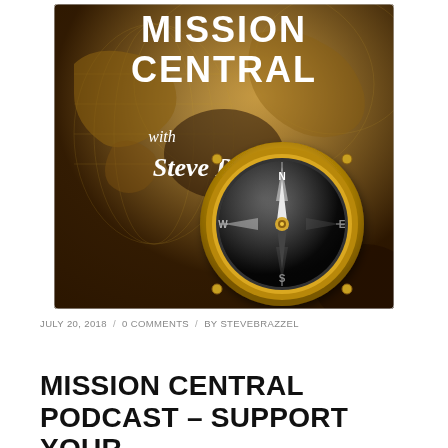[Figure (photo): Mission Central podcast cover art showing an antique world map background with a brass compass in the foreground. White text reads 'Mission Central' at the top and 'with Steve Brazzel' in script below.]
JULY 20, 2018 / 0 COMMENTS / BY STEVEBRAZZEL
MISSION CENTRAL PODCAST – SUPPORT YOUR